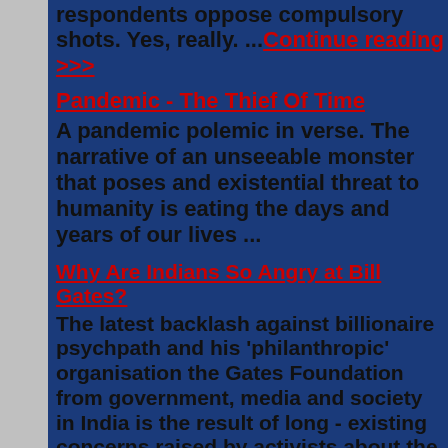respondents oppose compulsory shots. Yes, really. ...Continue reading >>>
Pandemic - The Thief Of Time
A pandemic polemic in verse. The narrative of an unseeable monster that poses and existential threat to humanity is eating the days and years of our lives ...
Why Are Indians So Angry at Bill Gates?
The latest backlash against billionaire psychpath and his 'philanthropic' organisation the Gates Foundation from government, media and society in India is the result of long - existing concerns raised by activists about the foundation's cavalier attitude to human rights and ...